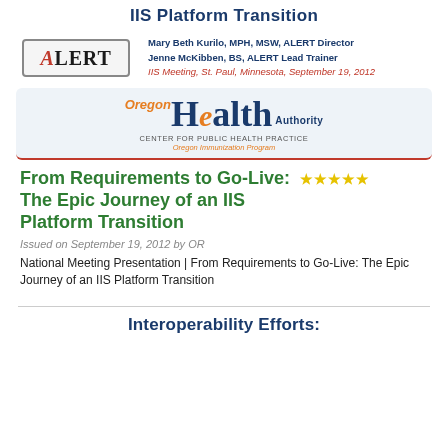IIS Platform Transition
[Figure (logo): ALERT badge logo]
Mary Beth Kurilo, MPH, MSW, ALERT Director
Jenne McKibben, BS, ALERT Lead Trainer
IIS Meeting, St. Paul, Minnesota, September 19, 2012
[Figure (logo): Oregon Health Authority logo with CENTER FOR PUBLIC HEALTH PRACTICE and Oregon Immunization Program]
From Requirements to Go-Live: The Epic Journey of an IIS Platform Transition
Issued on September 19, 2012 by OR
National Meeting Presentation | From Requirements to Go-Live: The Epic Journey of an IIS Platform Transition
Interoperability Efforts: